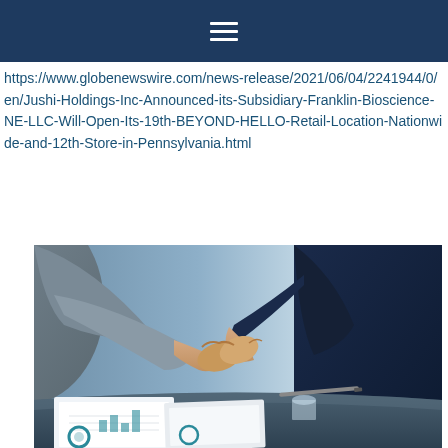navigation menu bar
https://www.globenewswire.com/news-release/2021/06/04/2241944/0/en/Jushi-Holdings-Inc-Announced-its-Subsidiary-Franklin-Bioscience-NE-LLC-Will-Open-Its-19th-BEYOND-HELLO-Retail-Location-Nationwide-and-12th-Store-in-Pennsylvania.html
[Figure (photo): Two businesspeople shaking hands over a desk with documents and charts, photographed in a professional setting]